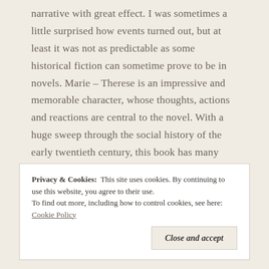narrative with great effect. I was sometimes a little surprised how events turned out, but at least it was not as predictable as some historical fiction can sometime prove to be in novels. Marie – Therese is an impressive and memorable character, whose thoughts, actions and reactions are central to the novel. With a huge sweep through the social history of the early twentieth century, this book has many distinctive and significant characters who combine to make an original and fascinating story. I was intrigued and pleased to have the opportunity to read and review this book.
Privacy & Cookies: This site uses cookies. By continuing to use this website, you agree to their use. To find out more, including how to control cookies, see here: Cookie Policy
Close and accept